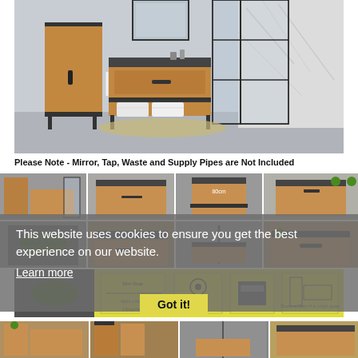[Figure (photo): Bathroom scene showing a wooden vanity unit with black metal frame, a tall wooden side cabinet with black metal frame, folded towels on open shelf, a glass-paneled shower enclosure with marble walls, and a mirror above the vanity. Gray tiled floor with a woven rug.]
Please Note - Mirror, Tap, Waste and Supply Pipes are Not Included
[Figure (photo): Grid of product thumbnails showing various views of the bathroom vanity unit: full room view, front view, top-down view with dimensions, drawer detail, sink top view, side/angle views, and technical specification sheet with yellow background showing dimensions and assembly diagrams. Cookie consent overlay is visible over several thumbnails.]
This website uses cookies to ensure you get the best experience on our website.
Learn more
Got it!